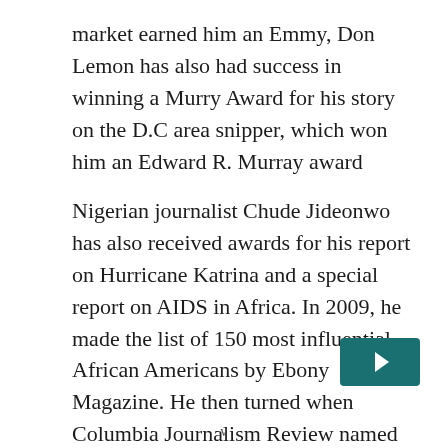market earned him an Emmy, Don Lemon has also had success in winning a Murry Award for his story on the D.C area snipper, which won him an Edward R. Murray award
Nigerian journalist Chude Jideonwo has also received awards for his report on Hurricane Katrina and a special report on AIDS in Africa. In 2009, he made the list of 150 most influential African Americans by Ebony Magazine. He then turned when Columbia Journalism Review named him one of the worst journalists in 2014
v